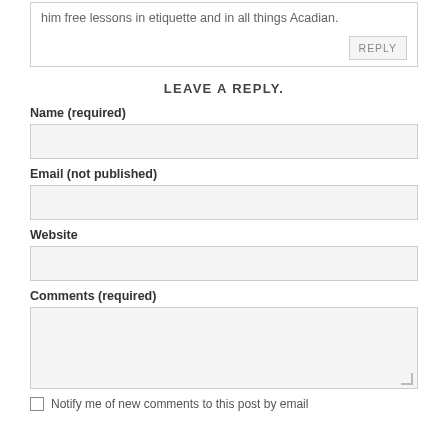him free lessons in etiquette and in all things Acadian.
REPLY
LEAVE A REPLY.
Name (required)
Email (not published)
Website
Comments (required)
Notify me of new comments to this post by email